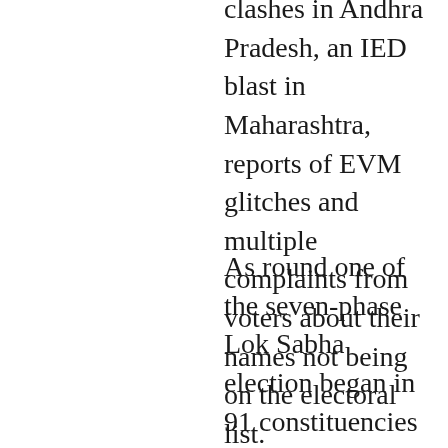clashes in Andhra Pradesh, an IED blast in Maharashtra, reports of EVM glitches and multiple complaints from voters about their names not being on the electoral list.
As round one of the seven-phase Lok Sabha election began in 91 constituencies across the length and breadth of India, from the hills of Kashmir to the islands of Andaman and Nicobar, reports of unrest and irregularities cast shadows over the world's largest democracy.